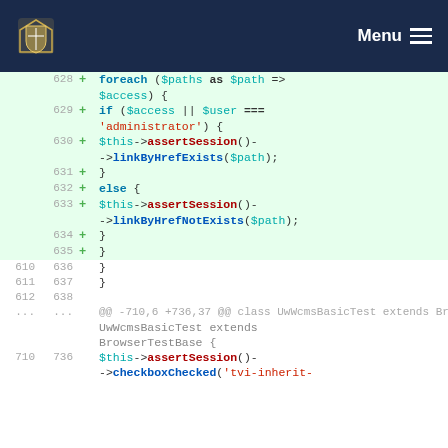[Figure (screenshot): University website navigation bar with crest logo and Menu button]
628  +  foreach ($paths as $path => $access) {
629  +    if ($access || $user === 'administrator') {
630  +      $this->assertSession()->linkByHrefExists($path);
631  +    }
632  +    else {
633  +      $this->assertSession()->linkByHrefNotExists($path);
634  +    }
635  +  }
610  636      }
611  637    }
612  638
...  ...  @@ -710,6 +736,37 @@ class UwWcmsBasicTest extends BrowserTestBase {
710  736    $this->assertSession()->checkboxChecked('tvi-inherit-...